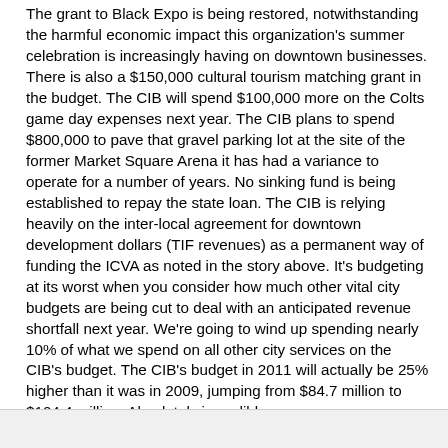The grant to Black Expo is being restored, notwithstanding the harmful economic impact this organization's summer celebration is increasingly having on downtown businesses. There is also a $150,000 cultural tourism matching grant in the budget. The CIB will spend $100,000 more on the Colts game day expenses next year. The CIB plans to spend $800,000 to pave that gravel parking lot at the site of the former Market Square Arena it has had a variance to operate for a number of years. No sinking fund is being established to repay the state loan. The CIB is relying heavily on the inter-local agreement for downtown development dollars (TIF revenues) as a permanent way of funding the ICVA as noted in the story above. It's budgeting at its worst when you consider how much other vital city budgets are being cut to deal with an anticipated revenue shortfall next year. We're going to wind up spending nearly 10% of what we spend on all other city services on the CIB's budget. The CIB's budget in 2011 will actually be 25% higher than it was in 2009, jumping from $84.7 million to $104.4 million. Absolutely incredible.